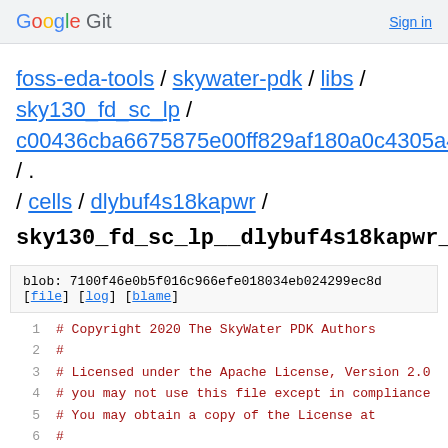Google Git  Sign in
foss-eda-tools / skywater-pdk / libs / sky130_fd_sc_lp / c00436cba6675875e00ff829af180a0c4305a4f9 / . / cells / dlybuf4s18kapwr /
sky130_fd_sc_lp__dlybuf4s18kapwr_1.lef
blob: 7100f46e0b5f016c966efe018034eb024299ec8d
[file] [log] [blame]
1  # Copyright 2020 The SkyWater PDK Authors
2  #
3  # Licensed under the Apache License, Version 2.0
4  # you may not use this file except in compliance
5  # You may obtain a copy of the License at
6  #
7  #     https://www.apache.org/licenses/LICENSE-2